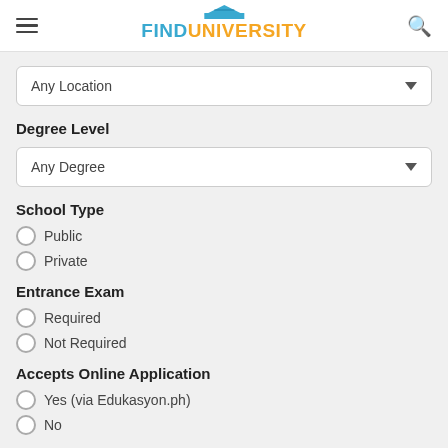[Figure (logo): FindUniversity logo with building rooftop icon, FIND in blue and UNIVERSITY in orange]
Any Location
Degree Level
Any Degree
School Type
Public
Private
Entrance Exam
Required
Not Required
Accepts Online Application
Yes (via Edukasyon.ph)
No
Advertisement